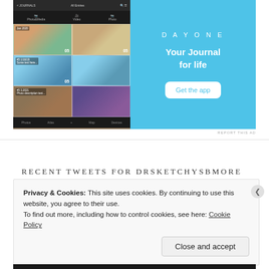[Figure (screenshot): Day One app advertisement showing a smartphone with a photo journal app on the left (blue background with photo grid) and the Day One logo with tagline 'Your Journal for life' and 'Get the app' button on the right, all on a light blue background]
REPORT THIS AD
RECENT TWEETS FOR DRSKETCHYSBMORE
Privacy & Cookies: This site uses cookies. By continuing to use this website, you agree to their use.
To find out more, including how to control cookies, see here: Cookie Policy
Close and accept